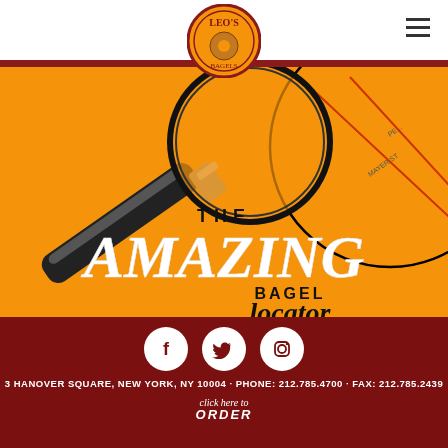[Figure (logo): Leo's Bagels circular logo with bagel image]
[Figure (illustration): The Amazing Bagel Locator promotional graphic on orange background with magnifying glass and map illustration. Text reads: THE AMAZING BAGEL locator]
[Figure (infographic): Social media icons: Facebook, Twitter, Instagram (white circles on dark red background)]
3 HANOVER SQUARE, NEW YORK, NY 10004 · PHONE: 212.785.4700 · FAX: 212.785.2439
click here to ORDER